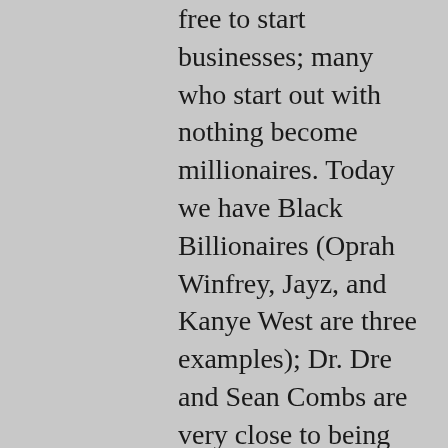free to start businesses; many who start out with nothing become millionaires. Today we have Black Billionaires (Oprah Winfrey, Jayz, and Kanye West are three examples); Dr. Dre and Sean Combs are very close to being billionaires. With the election of Barack Obama as President of the United States for two terms, any doubt about the possibilities for people of color in the political arena should have been shattered. In short, we Americans are blessed because we are living